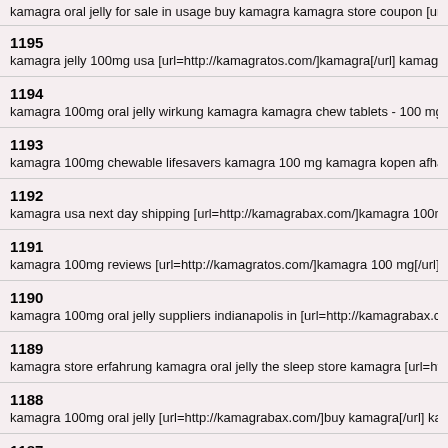kamagra oral jelly for sale in usage buy kamagra kamagra store coupon [url=http://kamag...
1195
kamagra jelly 100mg usa [url=http://kamagratos.com/]kamagra[/url] kamagra vs viagra kam...
1194
kamagra 100mg oral jelly wirkung kamagra kamagra chew tablets - 100 mg [url=http://kam...
1193
kamagra 100mg chewable lifesavers kamagra 100 mg kamagra kopen afhalen amsterdam...
1192
kamagra usa next day shipping [url=http://kamagrabax.com/]kamagra 100mg[/url] kamagra...
1191
kamagra 100mg reviews [url=http://kamagratos.com/]kamagra 100 mg[/url] kamagra 100m...
1190
kamagra 100mg oral jelly suppliers indianapolis in [url=http://kamagrabax.com/]kamagra 10...
1189
kamagra store erfahrung kamagra oral jelly the sleep store kamagra [url=http://kamagratos...
1188
kamagra 100mg oral jelly [url=http://kamagrabax.com/]buy kamagra[/url] kamagra oral jelly...
1187